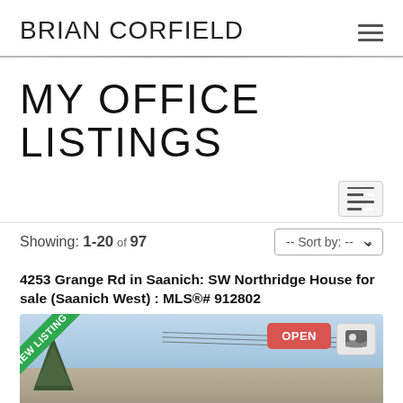BRIAN CORFIELD
MY OFFICE LISTINGS
Showing: 1-20 of 97
4253 Grange Rd in Saanich: SW Northridge House for sale (Saanich West) : MLS®# 912802
[Figure (photo): Exterior photo of a house with a 'NEW LISTING' green ribbon badge in the top-left corner, an 'OPEN' red button and a contact icon button in the top-right area. Sky with clouds visible in background, trees on left.]